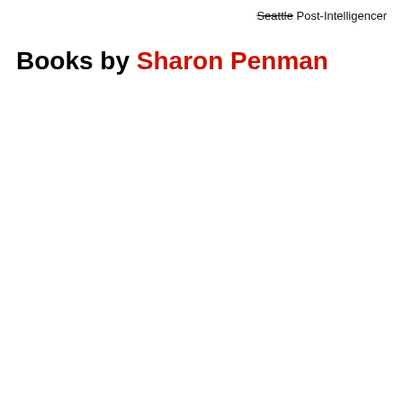Seattle Post-Intelligencer
Books by Sharon Penman